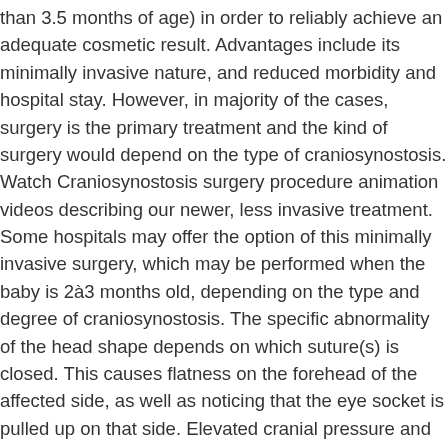than 3.5 months of age) in order to reliably achieve an adequate cosmetic result. Advantages include its minimally invasive nature, and reduced morbidity and hospital stay. However, in majority of the cases, surgery is the primary treatment and the kind of surgery would depend on the type of craniosynostosis. Watch Craniosynostosis surgery procedure animation videos describing our newer, less invasive treatment. Some hospitals may offer the option of this minimally invasive surgery, which may be performed when the baby is 2à3 months old, depending on the type and degree of craniosynostosis. The specific abnormality of the head shape depends on which suture(s) is closed. This causes flatness on the forehead of the affected side, as well as noticing that the eye socket is pulled up on that side. Elevated cranial pressure and subsequent neurological damage can occur. We are the only team in Northern California with extensive experience with this surgery and our results have been excellent. Surgery for craniosynostosis is a reconstructive procedure and therefore is usually paid for by health insurance.